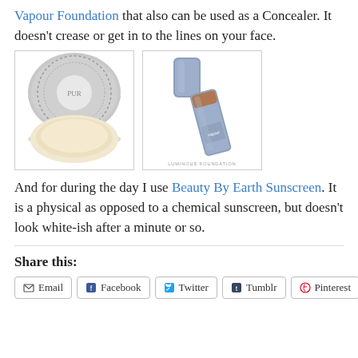Vapour Foundation that also can be used as a Concealer. It doesn't crease or get in to the lines on your face.
[Figure (photo): Two product images: a round pressed powder compact with silver patterned lid on the left, and a Vapour Luminous Foundation stick with cap removed on the right showing pale blue/grey packaging]
And for during the day I use Beauty By Earth Sunscreen. It is a physical as opposed to a chemical sunscreen, but doesn't look white-ish after a minute or so.
Share this:
Email
Facebook
Twitter
Tumblr
Pinterest